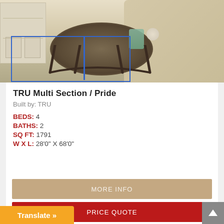[Figure (photo): Photo of a round coffee table with decorative items (glass vase, decorative ball) on top, metal curved legs, in a living room with a beige sofa and white shelving unit in the background. A blue rectangular overlay box is drawn around the table legs area.]
TRU Multi Section / Pride
Built by: TRU
BEDS: 4
BATHS: 2
SQ FT: 1791
W X L: 28'0" X 68'0"
MORE INFO
PRICE QUOTE
Translate »